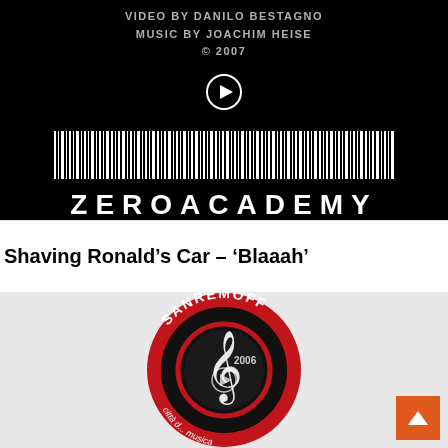[Figure (screenshot): Black background video thumbnail showing 'VIDEO BY DANILO BESTAGNO', 'MUSIC BY JOACHIM HEISE', '© 2007', a play button, a barcode graphic, 'ZEROACADEMY' text, and 'DANILO BESTAGNO PRODUCTIONS' subtitle]
Shaving Ronald's Car – 'Blaaah'
[Figure (logo): Sanremoff circular logo with red/black design, musical clef, '2006' text, and 'città d... musica' text around the border]